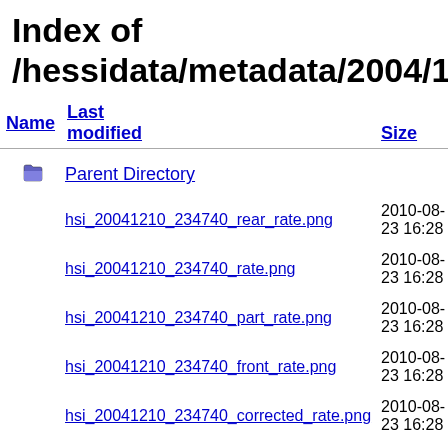Index of /hessidata/metadata/2004/12/10
| Name | Last modified | Size | Desc |
| --- | --- | --- | --- |
| Parent Directory |  | - |  |
| hsi_20041210_234740_rear_rate.png | 2010-08-23 16:28 | 15K |  |
| hsi_20041210_234740_rate.png | 2010-08-23 16:28 | 11K |  |
| hsi_20041210_234740_part_rate.png | 2010-08-23 16:28 | 8.1K |  |
| hsi_20041210_234740_front_rate.png | 2010-08-23 16:28 | 16K |  |
| hsi_20041210_234740_corrected_rate.png | 2010-08-23 16:28 | 11K |  |
| hsi_20041210_221140_rear_rate.png | 2010-08-23 16:28 | 13K |  |
| hsi_20041210_221140_rate... | 2010-08-23 16:28 | 10K |  |